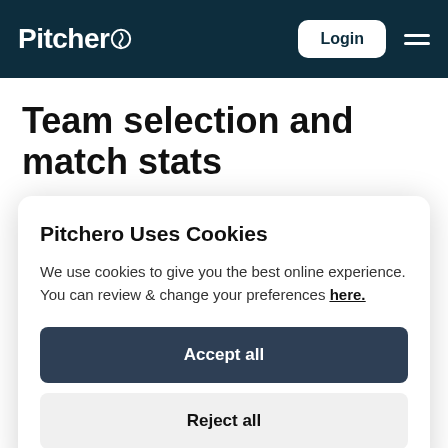Pitchero — Login — Navigation
Team selection and match stats
Publish your team selections in seconds via the
Pitchero Uses Cookies
We use cookies to give you the best online experience. You can review & change your preferences here.
Accept all
Reject all